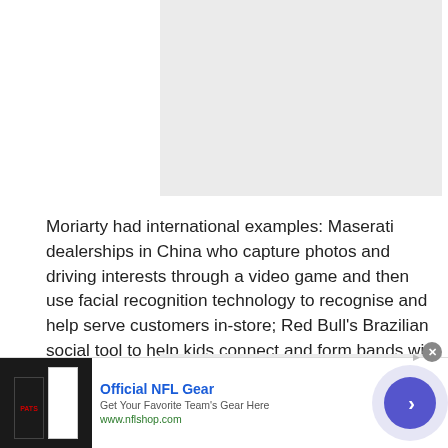[Figure (other): Gray advertisement placeholder box at top of page]
Moriarty had international examples: Maserati dealerships in China who capture photos and driving interests through a video game and then use facial recognition technology to recognise and help serve customers in-store; Red Bull's Brazilian social tool to help kids connect and form bands with fellow musicians from other colleges.
[Figure (other): Gray advertisement placeholder box with 'Advertisement' label]
[Figure (other): Bottom banner advertisement for Official NFL Gear with image, text and arrow button]